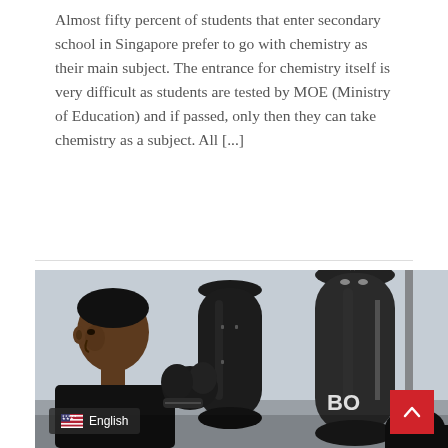Almost fifty percent of students that enter secondary school in Singapore prefer to go with chemistry as their main subject. The entrance for chemistry itself is very difficult as students are tested by MOE (Ministry of Education) and if passed, only then they can take chemistry as a subject. All [...]
[Figure (photo): Photo of a man looking at boxing punching bags hanging in a gym, with English language badge overlay and red scroll-to-top button]